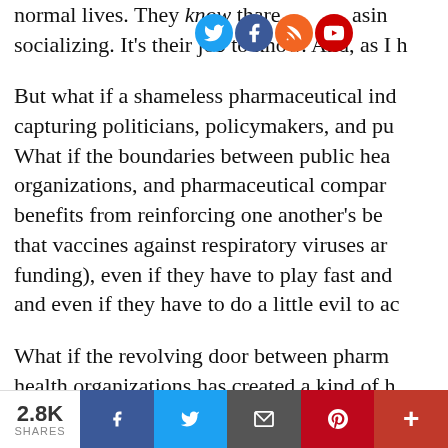normal lives. They know th [social icons] are [cut] asin... socializing. It's their job to know. And, as I h...
But what if a shameless pharmaceutical ind... capturing politicians, policymakers, and pu... What if the boundaries between public hea... organizations, and pharmaceutical compar... benefits from reinforcing one another's be... that vaccines against respiratory viruses ar... funding), even if they have to play fast and... and even if they have to do a little evil to ac...
What if the revolving door between pharm... health organizations has created a kind of h...
2.8K SHARES | f | twitter | email | pinterest | +